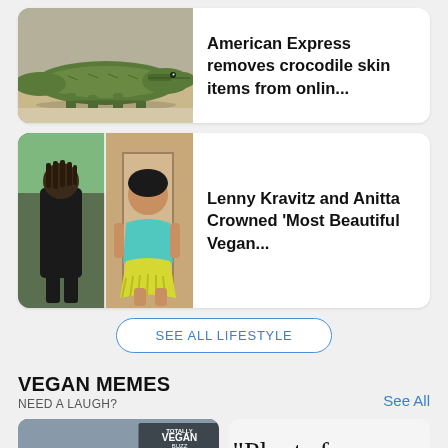[Figure (photo): News card with crocodile image and headline: American Express removes crocodile skin items from onlin...]
[Figure (photo): News card with Lenny Kravitz and Anitta photo and headline: Lenny Kravitz and Anitta Crowned 'Most Beautiful Vegan...]
SEE ALL LIFESTYLE
VEGAN MEMES
NEED A LAUGH?
See All
[Figure (photo): Meme image with Totally Vegan Buzz watermark showing man near blue trash cans with text 'dairy industry']
[Figure (photo): Meme image with text '"Plants fe' and 'ME:' with upvote/scroll button graphic]